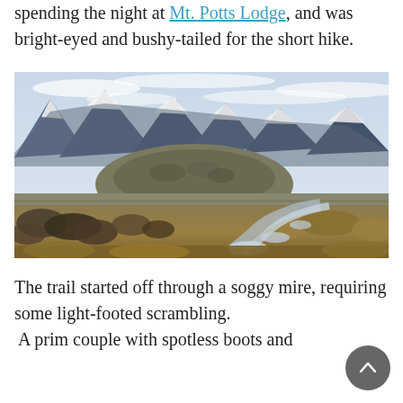spending the night at Mt. Potts Lodge, and was bright-eyed and bushy-tailed for the short hike.
[Figure (photo): Landscape photo showing snow-capped mountains in the background, a rounded rocky hill in the midground, and a soggy mire trail with puddles winding through dry brown tussock grass and scrubby bushes in the foreground. Overcast sky.]
The trail started off through a soggy mire, requiring some light-footed scrambling. A prim couple with spotless boots and